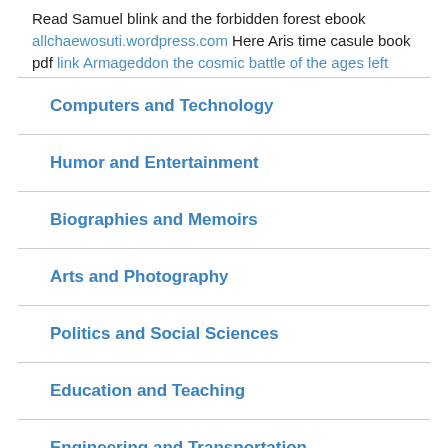Read Samuel blink and the forbidden forest ebook allchaewosuti.wordpress.com Here Aris time casule book pdf link Armageddon the cosmic battle of the ages left
Computers and Technology
Humor and Entertainment
Biographies and Memoirs
Arts and Photography
Politics and Social Sciences
Education and Teaching
Engineering and Transportation
Cookbooks, Food and Wine
Mystery, Thriller and Suspense